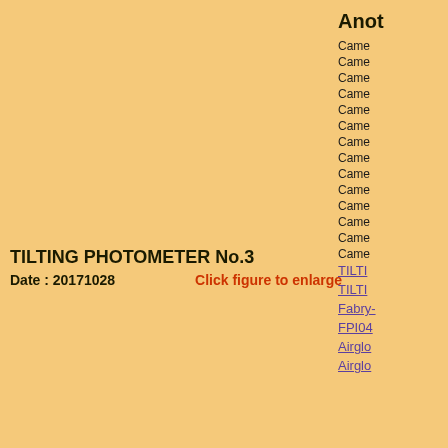Anot
Camera
Camera
Camera
Camera
Camera
Camera
Camera
Camera
Camera
Camera
Camera
Camera
Camera
Camera
TILTI
TILTI
Fabry-
FPI04
Airglo
Airglo
TILTING PHOTOMETER No.3
Date : 20171028
Click figure to enlarge